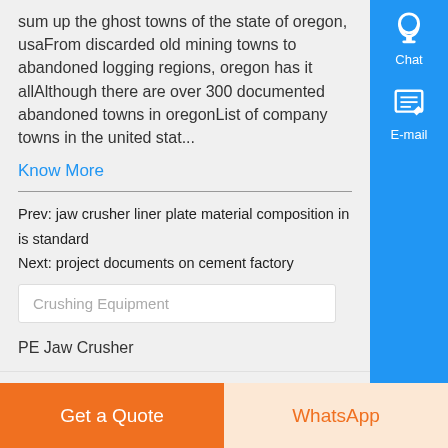sum up the ghost towns of the state of oregon, usaFrom discarded old mining towns to abandoned logging regions, oregon has it allAlthough there are over 300 documented abandoned towns in oregonList of company towns in the united stat...
Know More
Prev: jaw crusher liner plate material composition in is standard
Next: project documents on cement factory
Crushing Equipment
PE Jaw Crusher
PEW Jaw Crusher
PF Impact Crusher
Get a Quote
WhatsApp